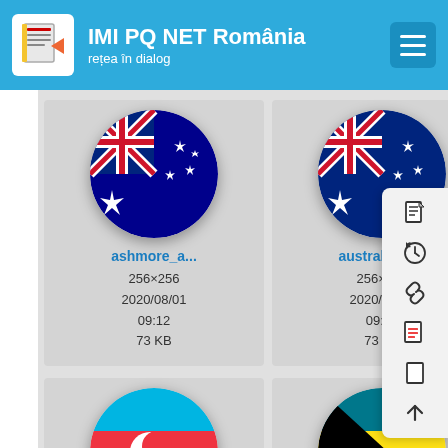IMI PQ NET România — rețea în dialog
[Figure (screenshot): File browser grid showing flag image files: ashmore_a... (256×256, 2020/08/01 09:12, 73 KB), australia.png (256×256, 2020/08/01 09:12, 73 KB), austr... (partially visible), azerbaijan.... (256×256, 2020/08/01), bahamas-_... (256×256, 2020/08/01), bahr... (partially visible). Each file is shown with a circular flag icon and metadata.]